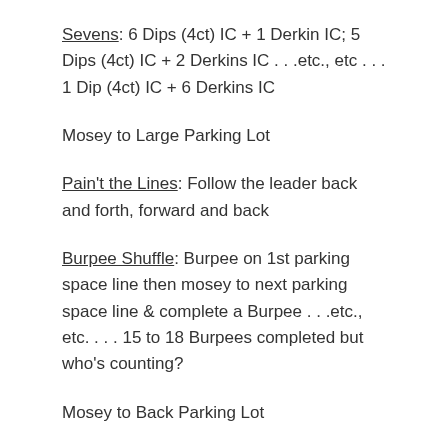Sevens: 6 Dips (4ct) IC + 1 Derkin IC; 5 Dips (4ct) IC + 2 Derkins IC . . .etc., etc . . . 1 Dip (4ct) IC + 6 Derkins IC
Mosey to Large Parking Lot
Pain't the Lines: Follow the leader back and forth, forward and back
Burpee Shuffle: Burpee on 1st parking space line then mosey to next parking space line & complete a Burpee . . .etc., etc.  . . . 15 to 18 Burpees completed but who's counting?
Mosey to Back Parking Lot